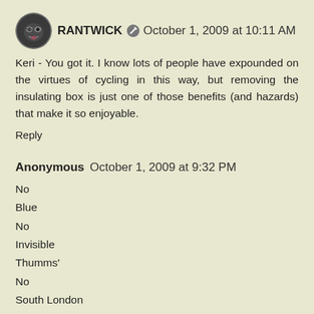[Figure (illustration): Round avatar image of RANTWICK commenter — stylized dark face with glowing eyes]
RANTWICK ✏ October 1, 2009 at 10:11 AM
Keri - You got it. I know lots of people have expounded on the virtues of cycling in this way, but removing the insulating box is just one of those benefits (and hazards) that make it so enjoyable.
Reply
Anonymous  October 1, 2009 at 9:32 PM
No
Blue
No
Invisible
Thumms'
No
South London
Joyce
Bontrager hard case
one of each